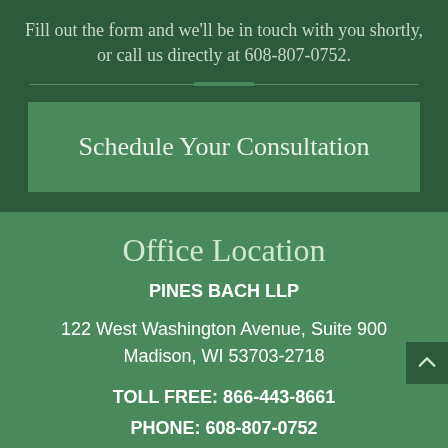Fill out the form and we'll be in touch with you shortly, or call us directly at 608-807-0752.
Schedule Your Consultation
Office Location
PINES BACH LLP
122 West Washington Avenue, Suite 900
Madison, WI 53703-2718
TOLL FREE: 866-443-8661
PHONE: 608-807-0752
Madison Law Office Ma…